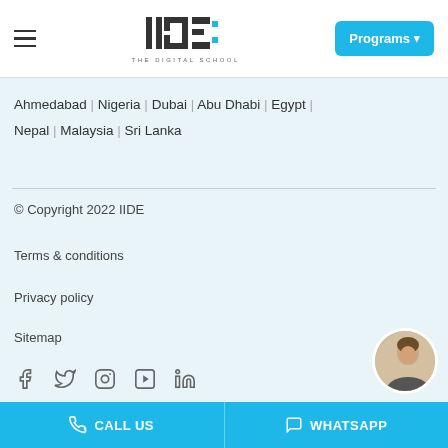IIDE THE DIGITAL SCHOOL | Programs
Ahmedabad | Nigeria | Dubai | Abu Dhabi | Egypt | Nepal | Malaysia | Sri Lanka
© Copyright 2022 IIDE
Terms & conditions
Privacy policy
Sitemap
[Figure (other): Social media icons row: Facebook, Twitter, Instagram, YouTube, LinkedIn]
[Figure (photo): Circular avatar photo of a smiling woman]
CALL US | WHATSAPP